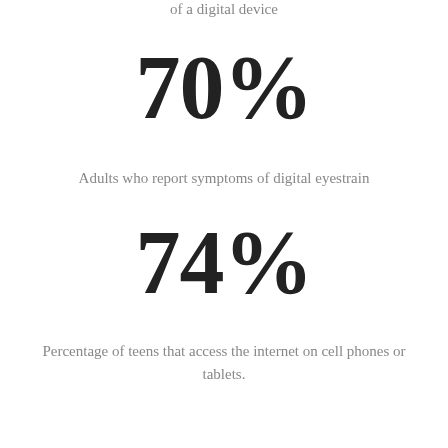of a digital device
70%
Adults who report symptoms of digital eyestrain
74%
Percentage of teens that access the internet on cell phones or tablets.